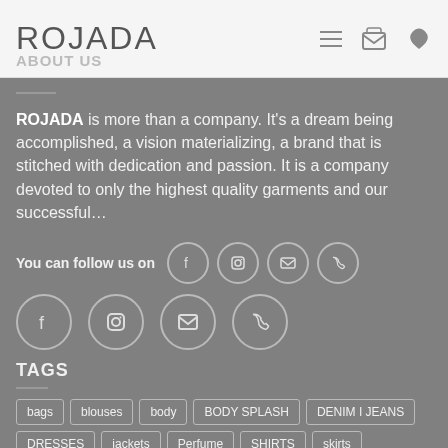ROJADA
ABOUT US
ROJADA is more than a company. It's a dream being accomplished, a vision materializing, a brand that is stitched with dedication and passion. It is a company devoted to only the highest quality garments and our successful...
You can follow us on
TAGS
bags
blouses
body
BODY SPLASH
DENIM I JEANS
DRESSES
jackets
Perfume
SHIRTS
skirts
SWEAT SHIRTS